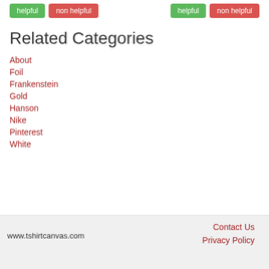[Figure (other): Two sets of helpful/non helpful buttons at the top of the page]
Related Categories
About
Foil
Frankenstein
Gold
Hanson
Nike
Pinterest
White
www.tshirtcanvas.com   Contact Us   Privacy Policy